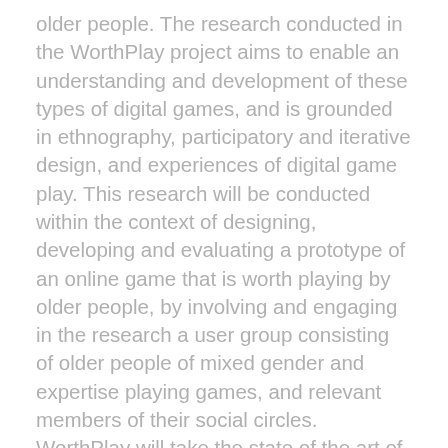older people. The research conducted in the WorthPlay project aims to enable an understanding and development of these types of digital games, and is grounded in ethnography, participatory and iterative design, and experiences of digital game play. This research will be conducted within the context of designing, developing and evaluating a prototype of an online game that is worth playing by older people, by involving and engaging in the research a user group consisting of older people of mixed gender and expertise playing games, and relevant members of their social circles. WorthPlay will take the state of the art of human-computer interaction research with older people and digital games forward by producing a human taxonomy of digital games for older people; providing a deeper understanding of everyday digital game by older people, of the challenges and opportunities of emerging human-game interaction styles and gaming platforms to improve the accessibility and playability of digital games for older people, and